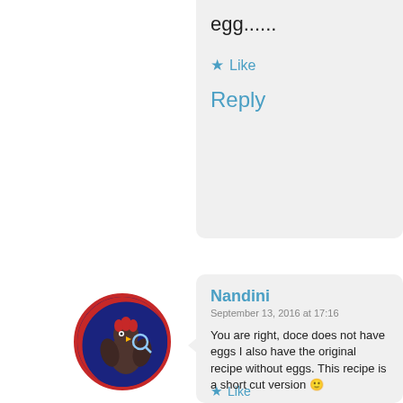egg......
★ Like
Reply
[Figure (illustration): Circular avatar with a red and blue illustrated character (resembling a rooster or stylized figure) on a dark blue background with red border]
Nandini
September 13, 2016 at 17:16
You are right, doce does not have eggs I also have the original recipe without eggs. This recipe is a short cut version 🙂
https://goanwiki.com/2013/12/27/garb coconut-bars-doce-de-grao/
★ Like